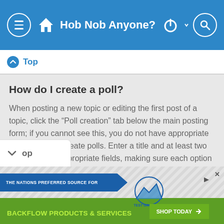Hob Nob Anyone?
Top
How do I create a poll?
When posting a new topic or editing the first post of a topic, click the “Poll creation” tab below the main posting form; if you cannot see this, you do not have appropriate permissions to create polls. Enter a title and at least two options in the appropriate fields, making sure each option is on a separate line in the textarea. You can also set the number of options users may select during voting under “Options per user”, a time limit in days for the poll (0 for infinite duration) and lastly the option to allow users to amend their votes.
op
[Figure (screenshot): Advertisement banner: Test Gauge Inc. - The Nations Preferred Source for Backflow Products & Services. Shop Today button.]